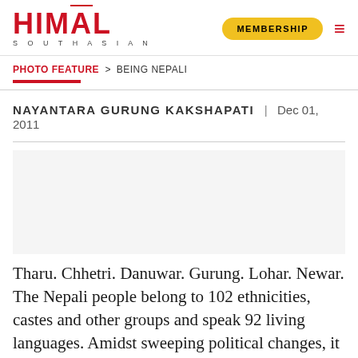HIMAL SOUTHASIAN
PHOTO FEATURE > BEING NEPALI
NAYANTARA GURUNG KAKSHAPATI | Dec 01, 2011
[Figure (photo): Photo placeholder area (image not visible in this crop)]
Tharu. Chhetri. Danuwar. Gurung. Lohar. Newar. The Nepali people belong to 102 ethnicities, castes and other groups and speak 92 living languages. Amidst sweeping political changes, it